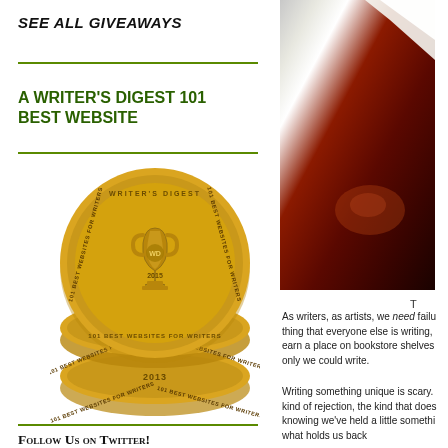SEE ALL GIVEAWAYS
A WRITER'S DIGEST 101 BEST WEBSITE
[Figure (illustration): Three stacked gold medallion badges from Writer's Digest, labeled '101 Best Websites for Writers' for years 2015, 2014, and 2013, each featuring a trophy icon.]
[Figure (photo): Dark red/brown moody photo, appears to be a partially lit book or document with dramatic shadowing.]
T
As writers, as artists, we need failure thing that everyone else is writing, earn a place on bookstore shelves only we could write.
Writing something unique is scary. kind of rejection, the kind that does knowing we've held a little somethi what holds us back
Follow Us on Twitter!